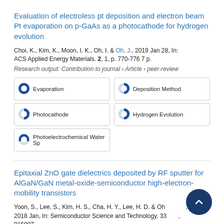Evaluation of electroless pt deposition and electron beam Pt evaporation on p-GaAs as a photocathode for hydrogen evolution
Choi, K., Kim, K., Moon, I. K., Oh, I. & Oh, J., 2019 Jan 28, In: ACS Applied Energy Materials. 2, 1, p. 770-776 7 p.
Research output: Contribution to journal › Article › peer-review
[Figure (infographic): Five keyword badges with donut/pie chart icons indicating percentage, arranged in a grid: Evaporation (100%), Deposition Method (~50%), Photocathode (~50%), Hydrogen Evolution (~50%), Photoelectrochemical Water Sp (~40%)]
Epitaxial ZnO gate dielectrics deposited by RF sputter for AlGaN/GaN metal-oxide-semiconductor high-electron-mobility transistors
Yoon, S., Lee, S., Kim, H. S., Cha, H. Y., Lee, H. D. & Oh..., 2018 Jan, In: Semiconductor Science and Technology. 33..., 015007.
Research output: Contribution to journal › Article › peer-review